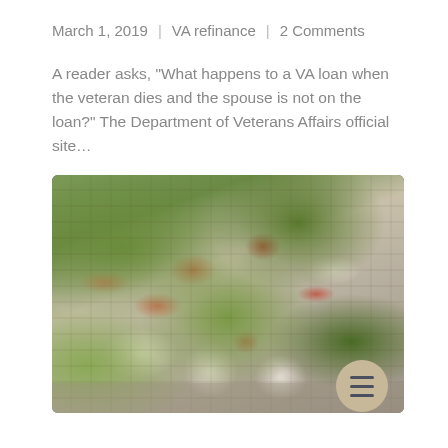March 1, 2019 | VA refinance | 2 Comments
A reader asks, "What happens to a VA loan when the veteran dies and the spouse is not on the loan?" The Department of Veterans Affairs official site…
[Figure (photo): Aerial view of a dense residential neighborhood with houses featuring red and white rooftops interspersed with green trees]